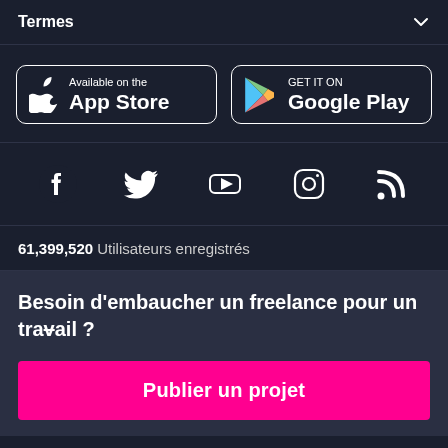Termes
[Figure (screenshot): App Store and Google Play download badges]
[Figure (infographic): Social media icons: Facebook, Twitter, YouTube, Instagram, RSS]
61,399,520 Utilisateurs enregistrés
Besoin d'embaucher un freelance pour un travail ?
Publier un projet